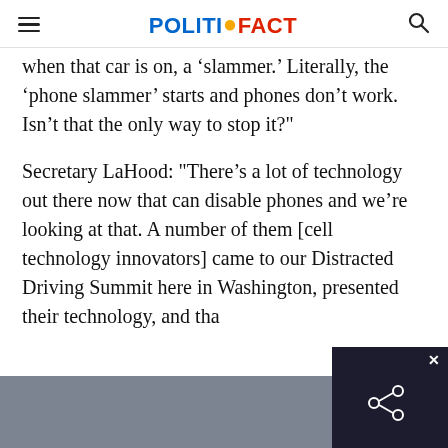POLITIFACT
when that car is on, a ‘slammer.’ Literally, the ‘phone slammer’ starts and phones don’t work. Isn’t that the only way to stop it?"
Secretary LaHood: "There’s a lot of technology out there now that can disable phones and we’re looking at that. A number of them [cell technology innovators] came to our Distracted Driving Summit here in Washington, presented their technology, and tha…